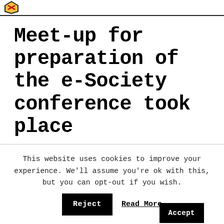Meet-up for preparation of the e-Society conference took place
This website uses cookies to improve your experience. We'll assume you're ok with this, but you can opt-out if you wish.
Accept
Reject
Read More